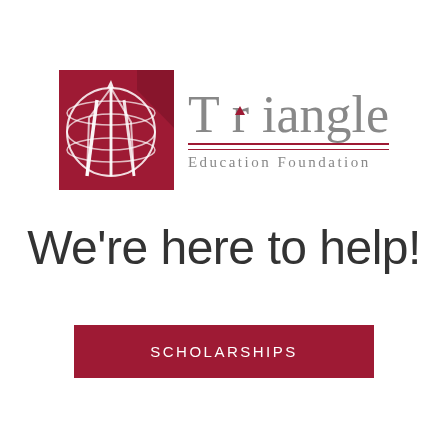[Figure (logo): Triangle Education Foundation logo: dark red/crimson square with white globe and architectural lines SVG icon on left, grey serif text 'Triangle' with small red triangle above the letter i, red horizontal rule, and 'Education Foundation' in grey spaced serif lettering on right.]
We're here to help!
SCHOLARSHIPS